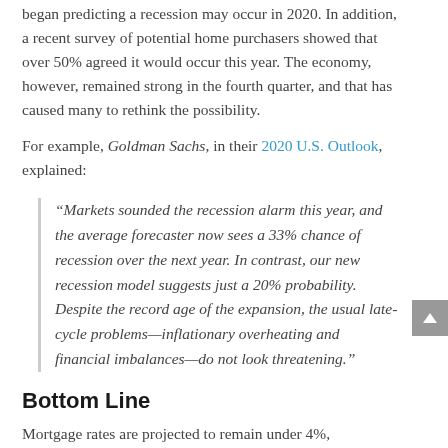began predicting a recession may occur in 2020. In addition, a recent survey of potential home purchasers showed that over 50% agreed it would occur this year. The economy, however, remained strong in the fourth quarter, and that has caused many to rethink the possibility.
For example, Goldman Sachs, in their 2020 U.S. Outlook, explained:
“Markets sounded the recession alarm this year, and the average forecaster now sees a 33% chance of recession over the next year. In contrast, our new recession model suggests just a 20% probability. Despite the record age of the expansion, the usual late-cycle problems—inflationary overheating and financial imbalances—do not look threatening.”
Bottom Line
Mortgage rates are projected to remain under 4%,